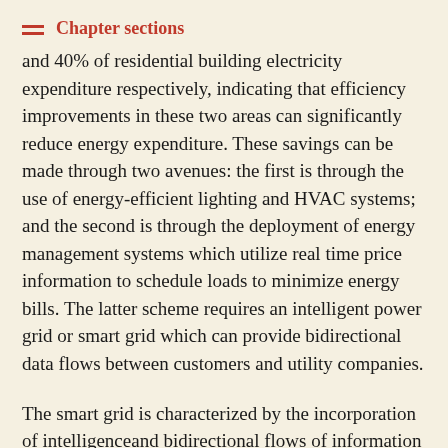Chapter sections
and 40% of residential building electricity expenditure respectively, indicating that efficiency improvements in these two areas can significantly reduce energy expenditure. These savings can be made through two avenues: the first is through the use of energy-efficient lighting and HVAC systems; and the second is through the deployment of energy management systems which utilize real time price information to schedule loads to minimize energy bills. The latter scheme requires an intelligent power grid or smart grid which can provide bidirectional data flows between customers and utility companies.
The smart grid is characterized by the incorporation of intelligenceand bidirectional flows of information and electricity throughout the power grid. These enhancements promise to revolutionize